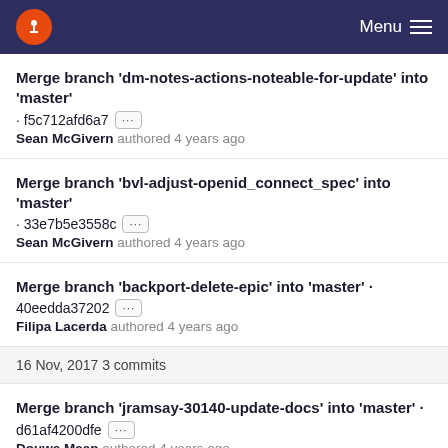Menu
Merge branch 'dm-notes-actions-noteable-for-update' into 'master' · f5c712afd6a7 ··· Sean McGivern authored 4 years ago
Merge branch 'bvl-adjust-openid_connect_spec' into 'master' · 33e7b5e3558c ··· Sean McGivern authored 4 years ago
Merge branch 'backport-delete-epic' into 'master' · 40eedda37202 ··· Filipa Lacerda authored 4 years ago
16 Nov, 2017 3 commits
Merge branch 'jramsay-30140-update-docs' into 'master' · d61af4200dfe ··· Douwe Maan authored 4 years ago
Merge branch 'fix/gb/update-registry-path-reference-regexp'